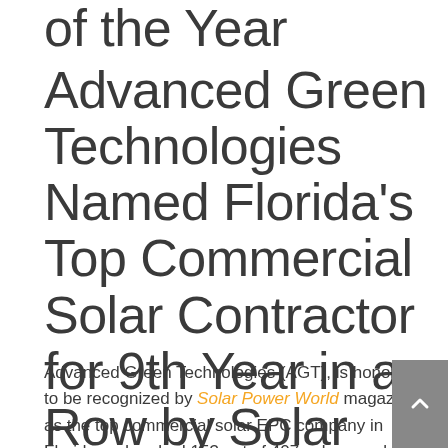of the Year Advanced Green Technologies Named Florida's Top Commercial Solar Contractor for 9th Year in a Row by Solar Power World
Advanced Green Technologies (AGT), is honored to be recognized by Solar Power World magazine as the top commercial solar EPC company in Florida and ranked 153 out of 407 solar panel installation contractors in the nation